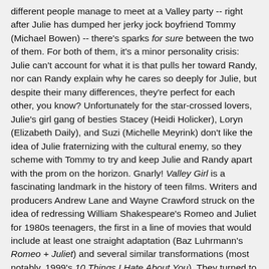different people manage to meet at a Valley party -- right after Julie has dumped her jerky jock boyfriend Tommy (Michael Bowen) -- there's sparks for sure between the two of them. For both of them, it's a minor personality crisis: Julie can't account for what it is that pulls her toward Randy, nor can Randy explain why he cares so deeply for Julie, but despite their many differences, they're perfect for each other, you know? Unfortunately for the star-crossed lovers, Julie's girl gang of besties Stacey (Heidi Holicker), Loryn (Elizabeth Daily), and Suzi (Michelle Meyrink) don't like the idea of Julie fraternizing with the cultural enemy, so they scheme with Tommy to try and keep Julie and Randy apart with the prom on the horizon. Gnarly! Valley Girl is a fascinating landmark in the history of teen films. Writers and producers Andrew Lane and Wayne Crawford struck on the idea of redressing William Shakespeare's Romeo and Juliet for 1980s teenagers, the first in a line of movies that would include at least one straight adaptation (Baz Luhrmann's Romeo + Juliet) and several similar transformations (most notably, 1999's 10 Things I Hate About You). They turned to